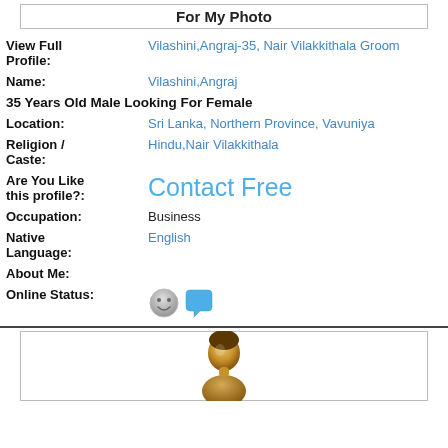For My Photo
View Full Profile: Vilashini,Angraj-35, Nair Vilakkithala Groom
Name: Vilashini,Angraj
35 Years Old Male Looking For Female
Location: Sri Lanka, Northern Province, Vavuniya
Religion / Caste: Hindu,Nair Vilakkithala
Are You Like this profile?: Contact Free
Occupation: Business
Native Language: English
About Me:
Online Status:
[Figure (illustration): User avatar/profile icon - golden/brown person silhouette]